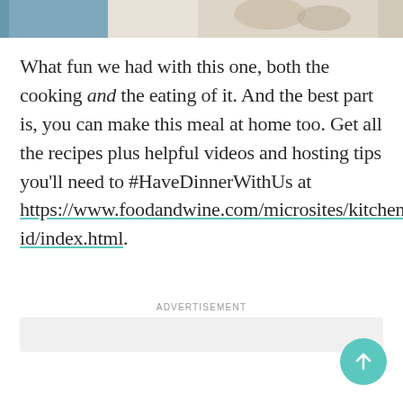[Figure (photo): Partial photo strip at top showing two food images side by side — left appears to be a blue/white setting, right is a colorful salad dish with greens and vegetables]
What fun we had with this one, both the cooking and the eating of it. And the best part is, you can make this meal at home too. Get all the recipes plus helpful videos and hosting tips you'll need to #HaveDinnerWithUs at https://www.foodandwine.com/microsites/kitchenaid/index.html.
ADVERTISEMENT
[Figure (other): Advertisement placeholder box — light gray rectangle]